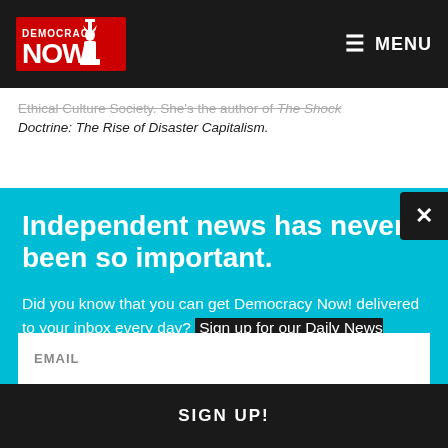[Figure (logo): Democracy Now! logo — red torch/statue icon with 'DEMOCRACY NOW!' text in red on black background]
≡ MENU
Ethical Culture Society. She's the author of The Shock Doctrine: The Rise of Disaster Capitalism.
Independent news has never been so important.
Did you know that you can get Democracy Now! delivered to your inbox every day? Sign up for our Daily News Digest today! Don't worry, we'll never share or sell your information.
EMAIL
SIGN UP!